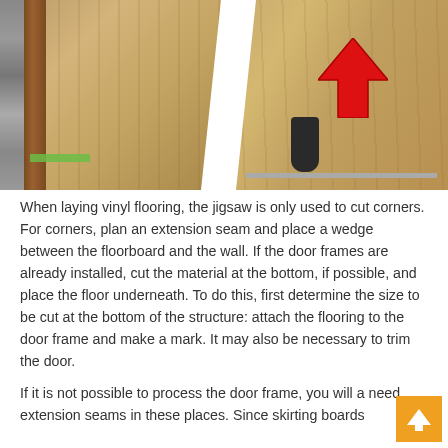[Figure (photo): Two-panel photo showing vinyl flooring installation near a door frame. Left panel shows flooring planks being laid with a green underlayment strip visible and a stone wall on the left. Right panel shows installed flooring near a door frame with a red arrow pointing to the junction/transition strip and a dark tool visible.]
When laying vinyl flooring, the jigsaw is only used to cut corners. For corners, plan an extension seam and place a wedge between the floorboard and the wall. If the door frames are already installed, cut the material at the bottom, if possible, and place the floor underneath. To do this, first determine the size to be cut at the bottom of the structure: attach the flooring to the door frame and make a mark. It may also be necessary to trim the door.
If it is not possible to process the door frame, you will a need extension seams in these places. Since skirting boards